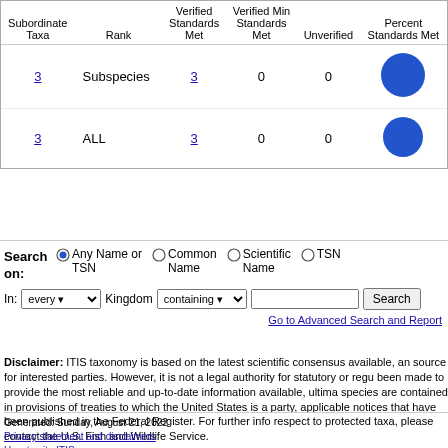| Subordinate Taxa | Rank | Verified Standards Met | Verified Min Standards Met | Unverified | Percent Standards Met |
| --- | --- | --- | --- | --- | --- |
| 3 | Subspecies | 3 | 0 | 0 | (circle ~100%) |
| 3 | ALL | 3 | 0 | 0 | (circle ~100%) |
Search on: (radio) Any Name or TSN (selected), Common Name, Scientific Name, TSN
In: every Kingdom containing [text input] Search
Go to Advanced Search and Report
Disclaimer: ITIS taxonomy is based on the latest scientific consensus available, and is intended as a reference source for interested parties. However, it is not a legal authority for statutory or regulatory purposes. While every effort has been made to provide the most reliable and up-to-date information available, ultimate legal requirements with respect to species are contained in provisions of treaties to which the United States is a party, wildlife statutes, regulations, and applicable notices that have been published in the Federal Register. For further information on U.S. legal requirements with respect to protected taxa, please contact the U.S. Fish and Wildlife Service.
Generated: Sunday, August 21, 2022
Privacy statement and disclaimers
How to cite ITIS
https://www.itis.gov/servlet/SingleRpt/SingleRpt?search_topic=TSN&search_value=179606#null/